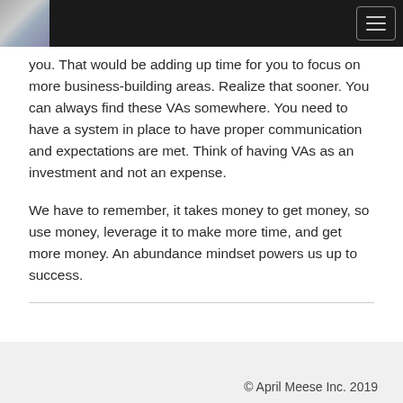[Figure (screenshot): Website header navigation bar with a portrait photo logo on the left and a hamburger menu button on the right, dark background]
you. That would be adding up time for you to focus on more business-building areas. Realize that sooner. You can always find these VAs somewhere. You need to have a system in place to have proper communication and expectations are met. Think of having VAs as an investment and not an expense.
We have to remember, it takes money to get money, so use money, leverage it to make more time, and get more money. An abundance mindset powers us up to success.
© April Meese Inc. 2019